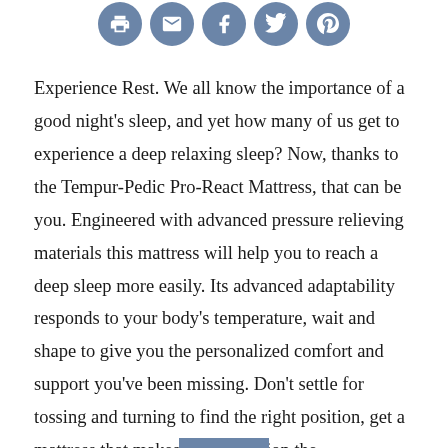[Figure (other): Five social sharing icon buttons (print, email, Facebook, Twitter, Pinterest) displayed as white icons on steel-blue circular backgrounds]
Experience Rest. We all know the importance of a good night's sleep, and yet how many of us get to experience a deep relaxing sleep? Now, thanks to the Tempur-Pedic Pro-React Mattress, that can be you. Engineered with advanced pressure relieving materials this mattress will help you to reach a deep sleep more easily. Its advanced adaptability responds to your body's temperature, wait and shape to give you the personalized comfort and support you've been missing. Don't settle for tossing and turning to find the right position, get a mattress that makes every position the